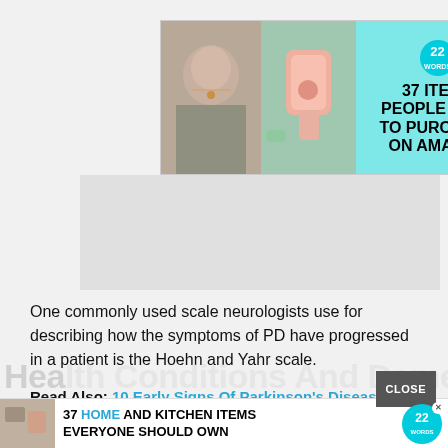[Figure (screenshot): Advertisement banner showing two photos (woman with necklace, pink item) on teal background with text '37 ITEMS PEOPLE LOVE TO PURCHASE ON AMAZON' and a circular badge with '22 Words' logo]
[Figure (screenshot): Gray placeholder advertisement block]
One commonly used scale neurologists use for describing how the symptoms of PD have progressed in a patient is the Hoehn and Yahr scale.
Read Also: 10 Early Signs Of Parkinson's Disease That Doctors Often Miss
Health Conditions And Dementia
[Figure (screenshot): Bottom advertisement bar: '37 HOME AND KITCHEN ITEMS EVERYONE SHOULD OWN' with 22 Words badge and CLOSE button]